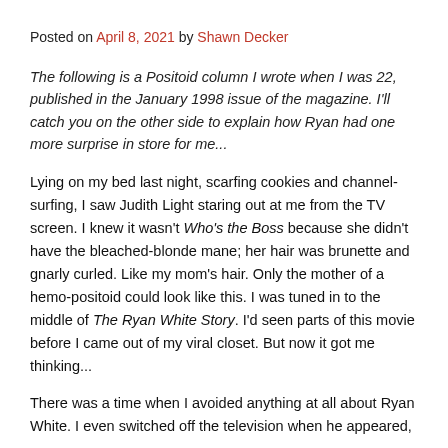Posted on April 8, 2021 by Shawn Decker
The following is a Positoid column I wrote when I was 22, published in the January 1998 issue of the magazine. I'll catch you on the other side to explain how Ryan had one more surprise in store for me...
Lying on my bed last night, scarfing cookies and channel-surfing, I saw Judith Light staring out at me from the TV screen. I knew it wasn't Who's the Boss because she didn't have the bleached-blonde mane; her hair was brunette and gnarly curled. Like my mom's hair. Only the mother of a hemo-positoid could look like this. I was tuned in to the middle of The Ryan White Story. I'd seen parts of this movie before I came out of my viral closet. But now it got me thinking...
There was a time when I avoided anything at all about Ryan White. I even switched off the television when he appeared,